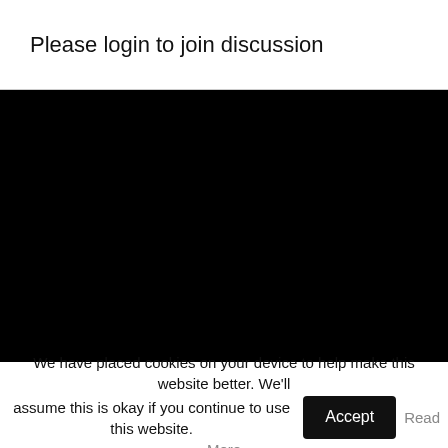Please login to join discussion
[Figure (other): Black rectangular area representing a video or embedded content placeholder]
We have placed cookies on your device to help make this website better. We'll assume this is okay if you continue to use this website. Accept Read More